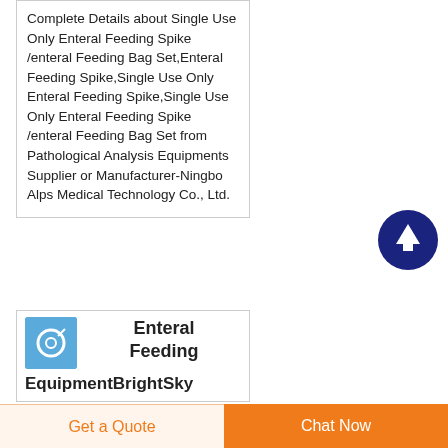Complete Details about Single Use Only Enteral Feeding Spike /enteral Feeding Bag Set,Enteral Feeding Spike,Single Use Only Enteral Feeding Spike,Single Use Only Enteral Feeding Spike /enteral Feeding Bag Set from Pathological Analysis Equipments Supplier or Manufacturer-Ningbo Alps Medical Technology Co., Ltd.
[Figure (illustration): Dark blue circular scroll-to-top button with white upward arrow]
[Figure (photo): Small product thumbnail image with blue background showing a ring/tube medical product]
Enteral Feeding
EquipmentBrightSky
Get a Quote
Chat Now